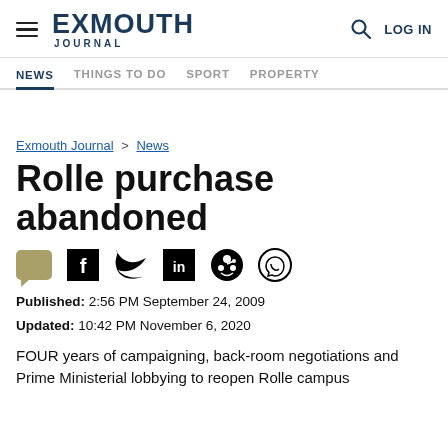EXMOUTH JOURNAL — LOG IN
NEWS | THINGS TO DO | SPORT | PROPERTY
Exmouth Journal > News
Rolle purchase abandoned
Published: 2:56 PM September 24, 2009
Updated: 10:42 PM November 6, 2020
FOUR years of campaigning, back-room negotiations and Prime Ministerial lobbying to reopen Rolle campus